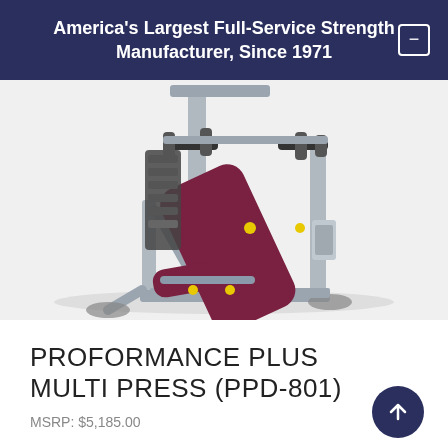America's Largest Full-Service Strength Manufacturer, Since 1971
[Figure (photo): Photograph of the Proformance Plus Multi Press (PPD-801) gym exercise machine with silver frame, maroon/dark red padded seat and back support, yellow accent bolts, and adjustable bench design.]
PROFORMANCE PLUS MULTI PRESS (PPD-801)
MSRP: $5,185.00